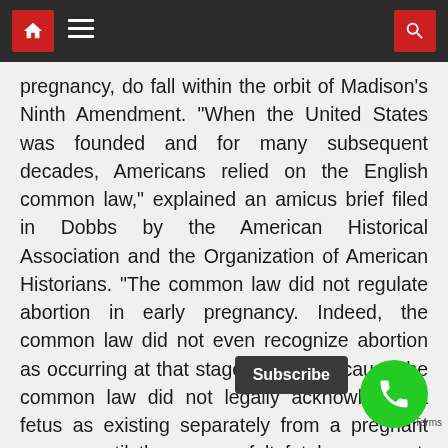Navigation bar with home, menu, and search icons
pregnancy, do fall within the orbit of Madison's Ninth Amendment. “When the United States was founded and for many subsequent decades, Americans relied on the English common law,” explained an amicus brief filed in Dobbs by the American Historical Association and the Organization of American Historians. “The common law did not regulate abortion in early pregnancy. Indeed, the common law did not even recognize abortion as occurring at that stage. That is because the common law did not legally acknowledge a fetus as existing separately from a pregnant woman until the woman felt fetal movement, called ‘quickening,’ which could occur as late as [weeks into] pregnancy.”